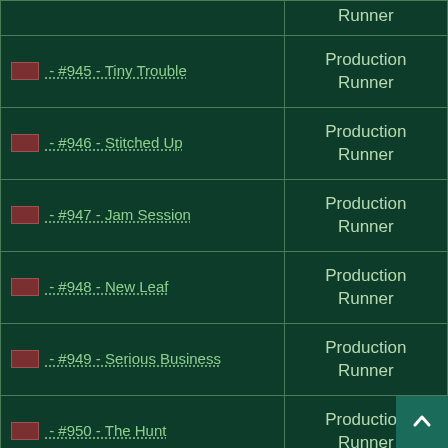| Episode | Role |
| --- | --- |
| [icon] - #945 - Tiny Trouble | Production Runner |
| [icon] - #946 - Stitched Up | Production Runner |
| [icon] - #947 - Jam Session | Production Runner |
| [icon] - #948 - New Leaf | Production Runner |
| [icon] - #949 - Serious Business | Production Runner |
| [icon] - #950 - The Hunt | Production Runner |
| [icon] - #951 - Losers Weepers | Production Runner |
| [icon] - #952 - The Copycat | Production |